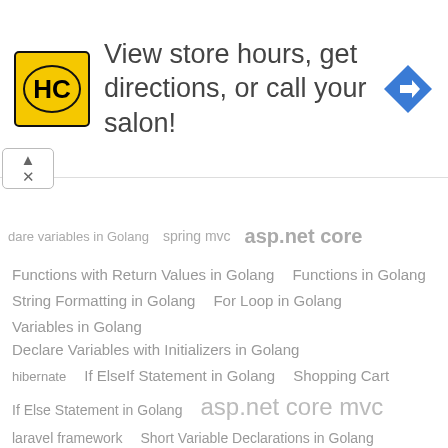[Figure (infographic): Advertisement banner: HC logo (yellow square with black HC text), text 'View store hours, get directions, or call your salon!', blue diamond navigation arrow icon]
dare variables in Golang   spring mvc   asp.net core
Functions with Return Values in Golang   Functions in Golang
String Formatting in Golang   For Loop in Golang
Variables in Golang   Declare Variables with Initializers in Golang
hibernate   If ElseIf Statement in Golang   Shopping Cart
If Else Statement in Golang   asp.net core mvc
laravel framework   Short Variable Declarations in Golang
While Loop in Golang   spring data jpa   Concatenation in Golang
php   Declare Functions in Golang   Use Images
database   laravel   controller in laravel